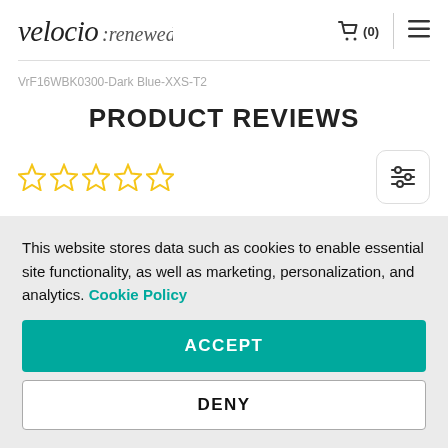velocio:renewed — Cart (0) — Menu
VrF16WBK0300-Dark Blue-XXS-T2
PRODUCT REVIEWS
[Figure (other): Five empty/outline star rating icons in yellow, and a filter/sliders button on the right]
This website stores data such as cookies to enable essential site functionality, as well as marketing, personalization, and analytics. Cookie Policy
ACCEPT
DENY